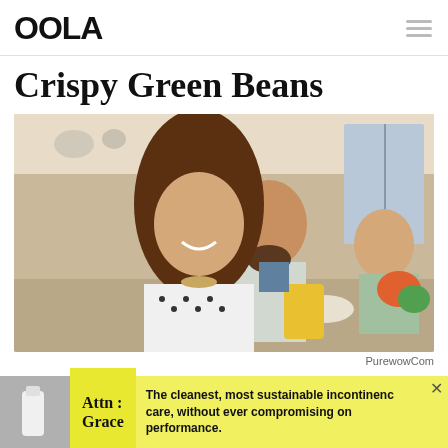OOLA
Crispy Green Beans
[Figure (photo): Three people smiling and cooking together in a bright kitchen; a woman with long brown hair in the foreground looks at the camera, a bearded man and another woman are behind her working at the counter.]
PurewowCom
Attn : Grace  The cleanest, most sustainable incontinence care, without ever compromising on performance.